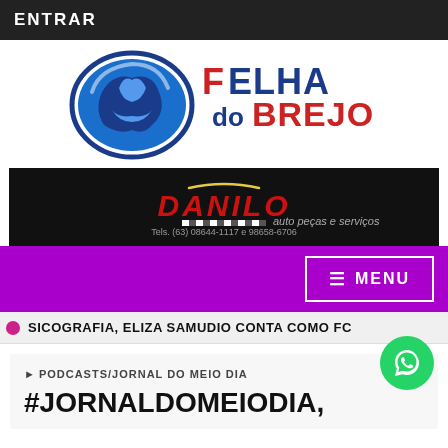ENTRAR
[Figure (logo): Folha do Brejo logo with blue fox illustration and red/blue text]
[Figure (logo): Danilo Auto Peças e Serviços banner advertisement on black background]
≡ MENU
SICOGRAFIA, ELIZA SAMUDIO CONTA COMO FC
▶PODCASTS/JORNAL DO MEIO DIA
#JORNALDOMEIODIA,